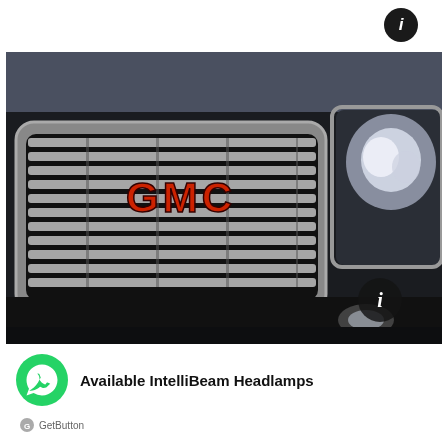[Figure (photo): Close-up front view of a dark GMC truck/SUV showing the chrome grille with red GMC logo lettering and the right headlamp assembly. An info icon overlay appears near the lower right of the image.]
Available IntelliBeam Headlamps
[Figure (logo): WhatsApp chat button (green circle with white phone/chat icon) and GetButton branding logo below it]